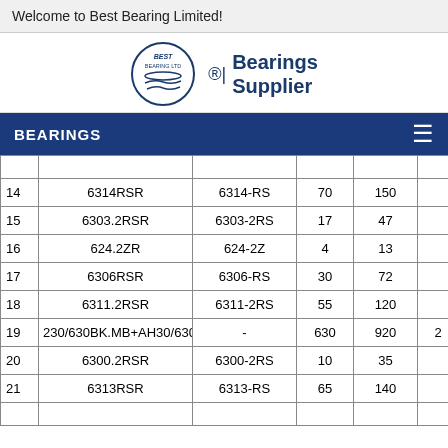Welcome to Best Bearing Limited!
[Figure (logo): Best Bearing Ltd logo with circular emblem and 'Bearings Supplier' text]
BEARINGS
| # | Model | Alt Model | d | D |  |
| --- | --- | --- | --- | --- | --- |
| 14 | 6314RSR | 6314-RS | 70 | 150 |  |
| 15 | 6303.2RSR | 6303-2RS | 17 | 47 |  |
| 16 | 624.2ZR | 624-2Z | 4 | 13 |  |
| 17 | 6306RSR | 6306-RS | 30 | 72 |  |
| 18 | 6311.2RSR | 6311-2RS | 55 | 120 |  |
| 19 | 230/630BK.MB+AH30/630 | - | 630 | 920 | 2 |
| 20 | 6300.2RSR | 6300-2RS | 10 | 35 |  |
| 21 | 6313RSR | 6313-RS | 65 | 140 |  |